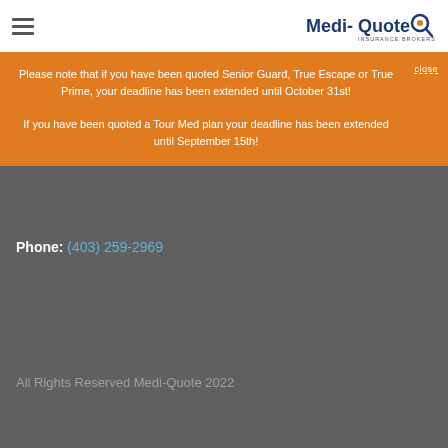Medi-Quote Insurance Brokers
Please note that if you have been quoted Senior Guard, True Escape or True Prime, your deadline has been extended until October 31st!

If you have been quoted a Tour Med plan your deadline has been extended until September 15th!
Phone: (403) 259-2969
All Rights Reserved Medi-Quote 2022